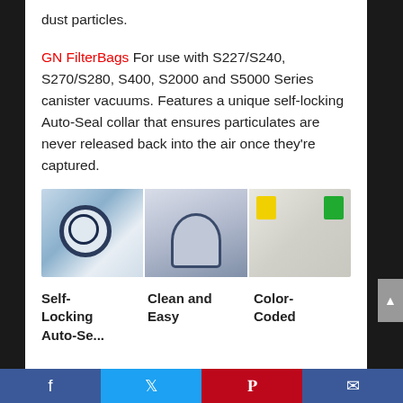dust particles.
GN FilterBags For use with S227/S240, S270/S280, S400, S2000 and S5000 Series canister vacuums. Features a unique self-locking Auto-Seal collar that ensures particulates are never released back into the air once they’re captured.
[Figure (photo): Three panel photo strip showing vacuum cleaner filter bags: left panel shows bag with circular seal ring on blue/white background, middle panel shows person inserting bag into canister vacuum, right panel shows multiple packaged filter bags with yellow and green color-coded packaging.]
Self-Locking Auto-Se...
Clean and Easy
Color-Coded
Facebook  Twitter  Pinterest  Email